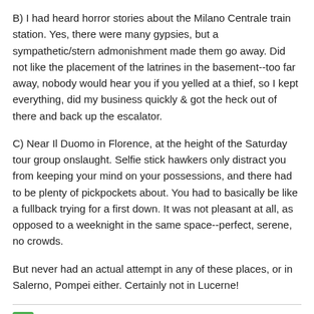B) I had heard horror stories about the Milano Centrale train station. Yes, there were many gypsies, but a sympathetic/stern admonishment made them go away. Did not like the placement of the latrines in the basement--too far away, nobody would hear you if you yelled at a thief, so I kept everything, did my business quickly & got the heck out of there and back up the escalator.
C) Near Il Duomo in Florence, at the height of the Saturday tour group onslaught. Selfie stick hawkers only distract you from keeping your mind on your possessions, and there had to be plenty of pickpockets about. You had to basically be like a fullback trying for a first down. It was not pleasant at all, as opposed to a weeknight in the same space--perfect, serene, no crowds.
But never had an actual attempt in any of these places, or in Salerno, Pompei either. Certainly not in Lucerne!
Posted by KC